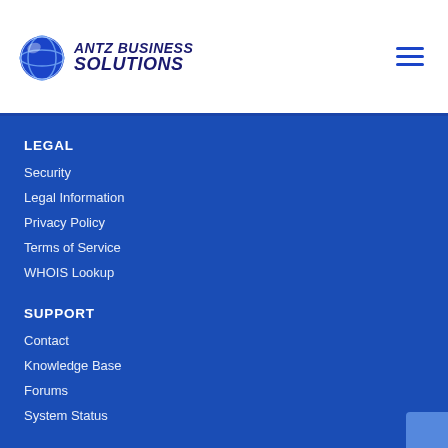[Figure (logo): ANTZ BUSINESS SOLUTIONS logo with globe icon on white navigation header bar with hamburger menu icon]
LEGAL
Security
Legal Information
Privacy Policy
Terms of Service
WHOIS Lookup
SUPPORT
Contact
Knowledge Base
Forums
System Status